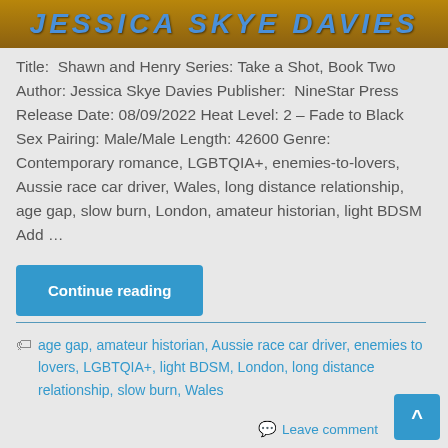JESSICA SKYE DAVIES
Title: Shawn and Henry Series: Take a Shot, Book Two Author: Jessica Skye Davies Publisher: NineStar Press Release Date: 08/09/2022 Heat Level: 2 – Fade to Black Sex Pairing: Male/Male Length: 42600 Genre: Contemporary romance, LGBTQIA+, enemies-to-lovers, Aussie race car driver, Wales, long distance relationship, age gap, slow burn, London, amateur historian, light BDSM Add ...
Continue reading
age gap, amateur historian, Aussie race car driver, enemies to lovers, LGBTQIA+, light BDSM, London, long distance relationship, slow burn, Wales
Leave comment